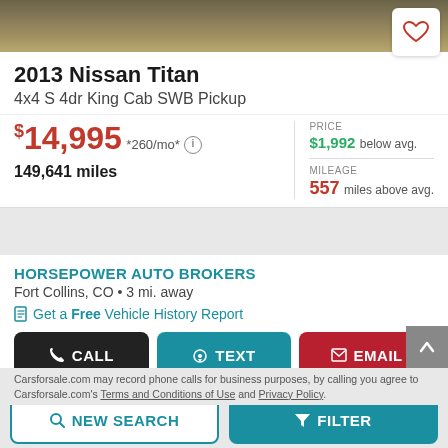[Figure (photo): Top portion of a truck vehicle photo, showing the roof/hood area with dark earthy tones]
2013 Nissan Titan
4x4 S 4dr King Cab SWB Pickup
$14,995 *260/mo*  149,641 miles | PRICE $1,992 below avg. | MILEAGE 557 miles above avg.
HORSEPOWER AUTO BROKERS
Fort Collins, CO • 3 mi. away
Get a Free Vehicle History Report
Carsforsale.com may record phone calls for business purposes, by calling you agree to Carsforsale.com's Terms and Conditions of Use and Privacy Policy.
[Figure (photo): Bottom portion of a vehicle listing photo, partially visible]
NEW SEARCH | FILTER